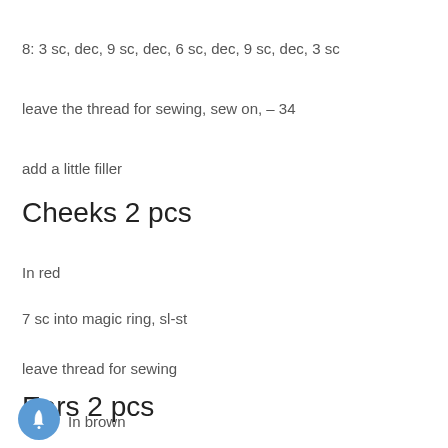8: 3 sc, dec, 9 sc, dec, 6 sc, dec, 9 sc, dec, 3 sc
leave the thread for sewing, sew on, – 34
add a little filler
Cheeks 2 pcs
In red
7 sc into magic ring, sl-st
leave thread for sewing
Ears 2 pcs
In brown